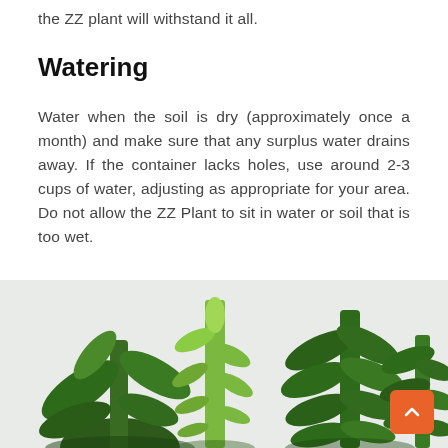the ZZ plant will withstand it all.
Watering
Water when the soil is dry (approximately once a month) and make sure that any surplus water drains away. If the container lacks holes, use around 2-3 cups of water, adjusting as appropriate for your area. Do not allow the ZZ Plant to sit in water or soil that is too wet.
[Figure (photo): Close-up photo of ZZ plant (Zamioculcas zamiifolia) stems with glossy green leaves against a white background]